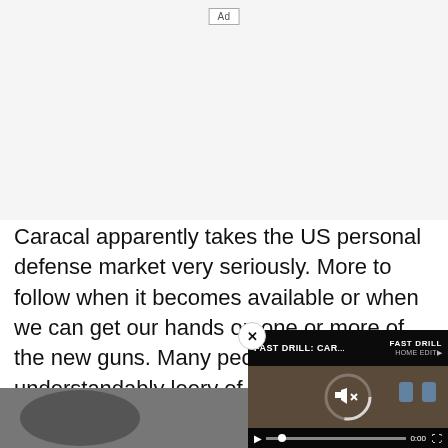[Figure (other): Advertisement placeholder area (blank/gray)]
Caracal apparently takes the US personal defense market very seriously. More to follow when it becomes available or when we can get our hands on one or more of the new guns. Many people are understandably leery of Caracal after the issues they've had in the past – h... soon if they've corrected th...
[Figure (screenshot): Video overlay showing 'FAST DRILL: CAR...' with playback controls, mute icon, progress bar showing 0:00, and a close (x) button]
[Figure (photo): Partial photo at the bottom left of the page, showing a dark/gray subject]